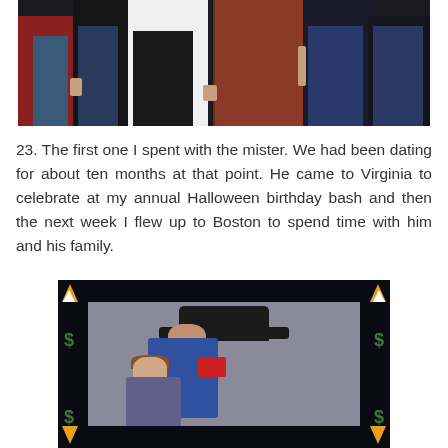[Figure (photo): Group photo of several people standing together, dimly lit, showing bodies from approximately waist down to feet. People wearing jeans and various colored tops.]
23. The first one I spent with the mister. We had been dating for about ten months at that point. He came to Virginia to celebrate at my annual Halloween birthday bash and then the next week I flew up to Boston to spend time with him and his family.
[Figure (photo): Photo of a man wearing a cowboy hat and red bandana with a woman, set against a Halloween-themed decorative border with candy corn and dollar sign motifs.]